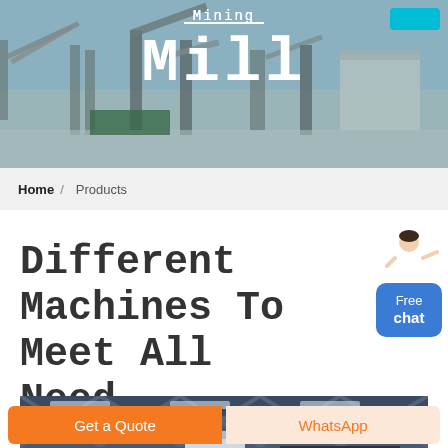[Figure (photo): Hero banner showing a large mining/milling facility with industrial machinery, conveyor belts and structures under a blue sky. Text overlay reads 'Mining Mill'.]
Mining Mill
Home / Products
[Figure (illustration): Customer service representative illustration with 'Free chat' blue button widget]
Different Machines To Meet All Need
[Figure (photo): Interior of an industrial factory/warehouse with blue steel structure ceiling, large machinery visible inside.]
Get a Quote
WhatsApp